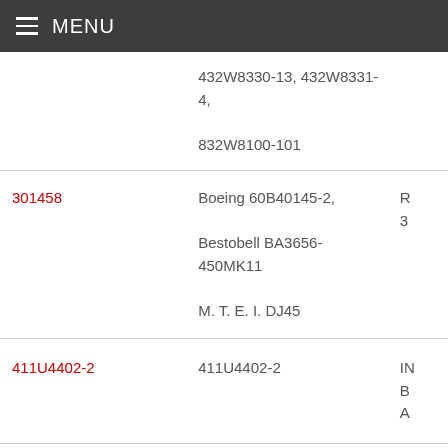MENU
| Part Number | Description | Ref |
| --- | --- | --- |
|  | 432W8330-13, 432W8331-4, 832W8100-101 |  |
| 301458 | Boeing 60B40145-2, Bestobell BA3656-450MK11 M. T. E. I. DJ45 | R 3 |
| 411U4402-2 | 411U4402-2 | IN B A |
| 161A2109-5GII | Boeing P/N 161A2109-5 | B S L |